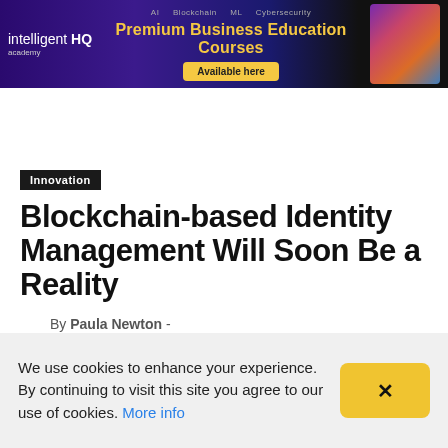[Figure (screenshot): intelligentHQ academy ad banner: purple-to-dark gradient background with gold text 'Premium Business Education Courses', 'Available here' button, and a laptop image on the right]
intelligent HQ
Innovation
Blockchain-based Identity Management Will Soon Be a Reality
By Paula Newton -
We use cookies to enhance your experience. By continuing to visit this site you agree to our use of cookies. More info